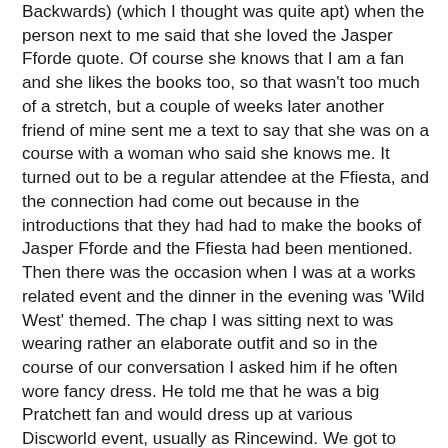Backwards) (which I thought was quite apt) when the person next to me said that she loved the Jasper Fforde quote.  Of course she knows that I am a fan and she likes the books too, so that wasn't too much of a stretch, but a couple of weeks later another friend of mine sent me a text to say that she was on a course with a woman who said she knows me.  It turned out to be a regular attendee at the Ffiesta, and the connection had come out because in the introductions that they had had to make the books of Jasper Fforde and the Ffiesta had been mentioned.  Then there was the occasion when I was at a works related event and the dinner in the evening was 'Wild West' themed.  The chap I was sitting next to was wearing rather an elaborate outfit and so in the course of our conversation I asked him if he often wore fancy dress.  He told me that he was a big Pratchett fan and would dress up at various Discworld event, usually as Rincewind.  We got to talking about books and it turned out he is a big Jasper ffan and is considering coming to the next Ffiesta.  I told him I was sure he will fit right in, as anybody who happily wears an inflatable horse to dinner is sure to find a kindred spirit there!  I also had quite a long conversation with the man on the other side of me about 'Shades of Grey' and I'm